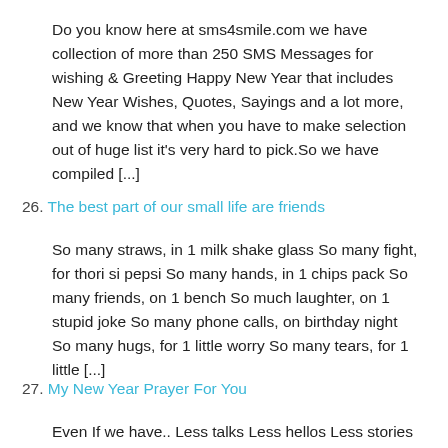Do you know here at sms4smile.com we have collection of more than 250 SMS Messages for wishing & Greeting Happy New Year that includes New Year Wishes, Quotes, Sayings and a lot more, and we know that when you have to make selection out of huge list it's very hard to pick.So we have compiled [...]
26. The best part of our small life are friends
So many straws, in 1 milk shake glass So many fight, for thori si pepsi So many hands, in 1 chips pack So many friends, on 1 bench So much laughter, on 1 stupid joke So many phone calls, on birthday night So many hugs, for 1 little worry So many tears, for 1 little [...]
27. My New Year Prayer For You
Even If we have.. Less talks Less hellos Less stories Less